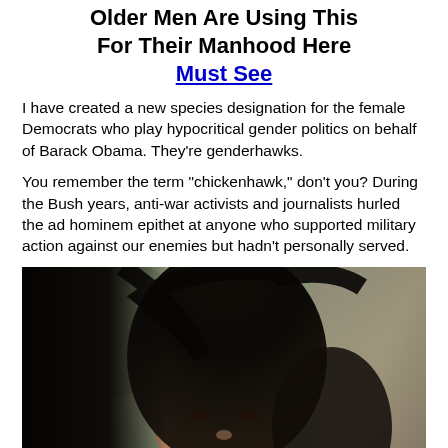Older Men Are Using This For Their Manhood Here Must See
I have created a new species designation for the female Democrats who play hypocritical gender politics on behalf of Barack Obama. They’re genderhawks.
You remember the term “chickenhawk,” don’t you? During the Bush years, anti-war activists and journalists hurled the ad hominem epithet at anyone who supported military action against our enemies but hadn’t personally served.
[Figure (photo): Portrait photo of a woman with long dark hair, facing forward, with a blurred outdoor background.]